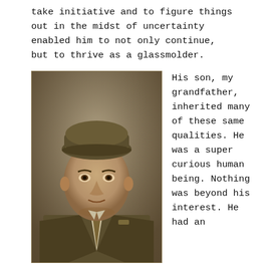take initiative and to figure things out in the midst of uncertainty enabled him to not only continue, but to thrive as a glassmolder.
[Figure (photo): Sepia-toned portrait photograph of a middle-aged man wearing a military garrison cap and uniform with a tie, looking slightly upward.]
His son, my grandfather, inherited many of these same qualities. He was a super curious human being. Nothing was beyond his interest. He had an